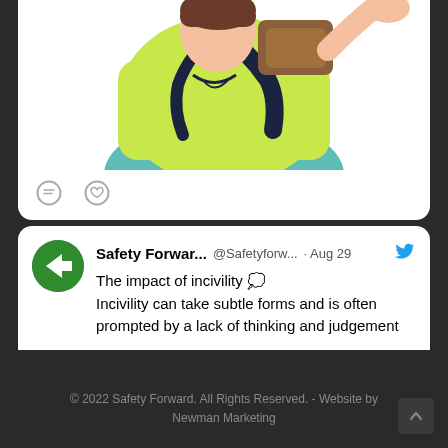[Figure (illustration): Cartoon illustration of a person wearing a yellow-green shirt and teal pants, shown from torso up, appearing to be covering or holding their head/face, with brown hair visible. White card background with rounded corners.]
[Figure (screenshot): Twitter/social media post from 'Safety Forwar... @Safetyforw...' dated Aug 29 with Twitter bird logo. Text reads: 'The impact of incivility [cloud emoji] Incivility can take subtle forms and is often prompted by a lack of thinking and judgement'. Green circular avatar with white arrow pointing right.]
© 2022 Safety Forward. All Rights Reserved. - Website by Newman Marketing